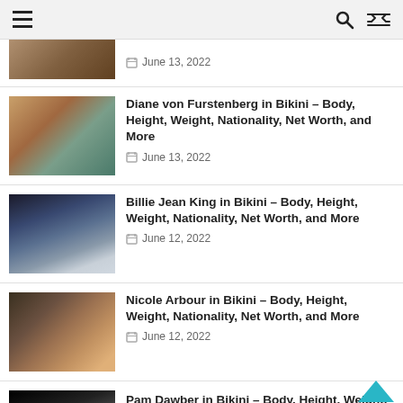Navigation header with hamburger menu, search and shuffle icons
[Figure (photo): Partial thumbnail visible at top (cropped)]
June 13, 2022
[Figure (photo): Diane von Furstenberg collage photo]
Diane von Furstenberg in Bikini – Body, Height, Weight, Nationality, Net Worth, and More
June 13, 2022
[Figure (photo): Billie Jean King playing tennis photo]
Billie Jean King in Bikini – Body, Height, Weight, Nationality, Net Worth, and More
June 12, 2022
[Figure (photo): Nicole Arbour glamour photo with green hair]
Nicole Arbour in Bikini – Body, Height, Weight, Nationality, Net Worth, and More
June 12, 2022
[Figure (photo): Pam Dawber black and white photo]
Pam Dawber in Bikini – Body, Height, Weight, Nationality, Net Worth, and